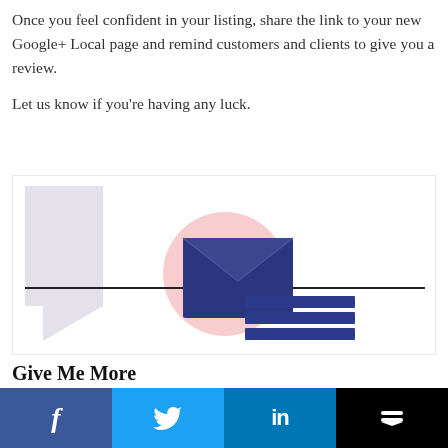Once you feel confident in your listing, share the link to your new Google+ Local page and remind customers and clients to give you a review.

Let us know if you're having any luck.
[Figure (illustration): Decorative illustration showing a large quotation mark/speech bubble shape in light lavender on the left, a pink circle in the center, and a dark navy blue envelope icon with horizontal blue lines beneath it (representing an email/newsletter graphic), with two horizontal black lines extending left and right from the center.]
Give Me More
Facebook | Twitter | LinkedIn | Buffer